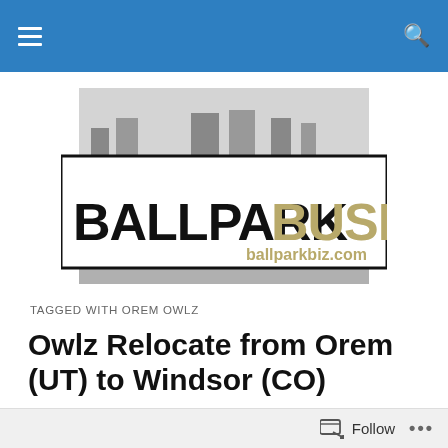[Figure (logo): Ballpark Business logo with ballpark photo background. Text reads BALLPARK BUSINESS ballparkbiz.com]
TAGGED WITH OREM OWLZ
Owlz Relocate from Orem (UT) to Windsor (CO)
The Orem Owlz (Independent Professional, Pioneer
Follow ...